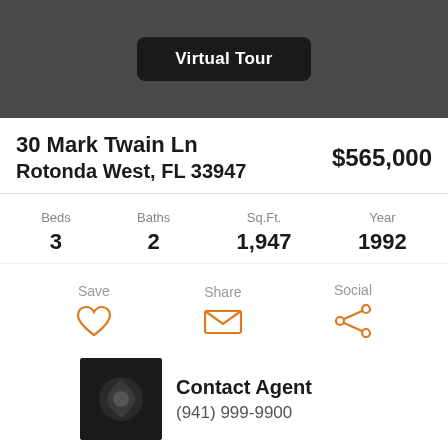[Figure (other): Dark gray header banner with a 'Virtual Tour' button]
30 Mark Twain Ln
Rotonda West, FL 33947
$565,000
Beds 3  Baths 2  Sq.Ft. 1,947  Year 1992
Save  Share  Social
Contact Agent
(941) 999-9900
Ask a Question